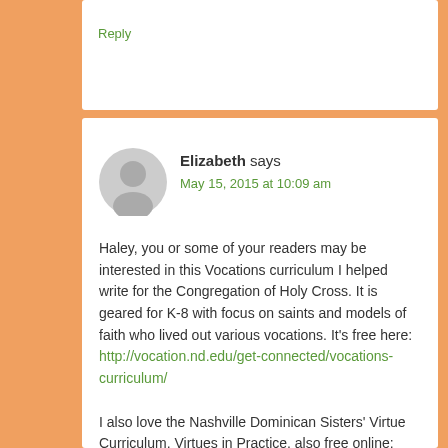Reply
Elizabeth says
May 15, 2015 at 10:09 am
Haley, you or some of your readers may be interested in this Vocations curriculum I helped write for the Congregation of Holy Cross. It is geared for K-8 with focus on saints and models of faith who lived out various vocations. It's free here: http://vocation.nd.edu/get-connected/vocations-curriculum/

I also love the Nashville Dominican Sisters' Virtue Curriculum, Virtues in Practice, also free online: http://nashvilledominican.org/Apostolate/Evangelization_an